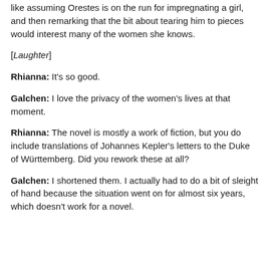like assuming Orestes is on the run for impregnating a girl, and then remarking that the bit about tearing him to pieces would interest many of the women she knows.
[Laughter]
Rhianna: It's so good.
Galchen: I love the privacy of the women's lives at that moment.
Rhianna: The novel is mostly a work of fiction, but you do include translations of Johannes Kepler's letters to the Duke of Württemberg. Did you rework these at all?
Galchen: I shortened them. I actually had to do a bit of sleight of hand because the situation went on for almost six years, which doesn't work for a novel.